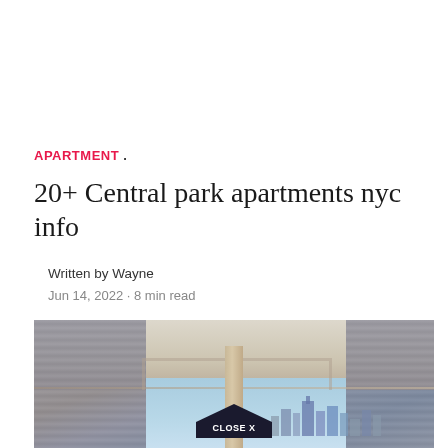APARTMENT .
20+ Central park apartments nyc info
Written by Wayne
Jun 14, 2022 · 8 min read
[Figure (photo): Interior photo of a luxury apartment with floor-to-ceiling windows overlooking a city skyline, showing ceiling details, metal columns, and draped curtains. A 'CLOSE X' button overlay is visible at the bottom center.]